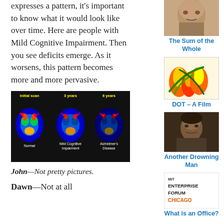expresses a pattern, it's important to know what it would look like over time. Here are people with Mild Cognitive Impairment. Then you see deficits emerge. As it worsens, this pattern becomes more and more pervasive.
[Figure (photo): Brain PET scan images showing progression: Initial scan (Normal), 3 years (Mild Cognitive Impairment), 6 years (Alzheimer's Disease). Color-coded brain scans with red arrows indicating areas of concern.]
John—Not pretty pictures.
Dawn—Not at all
[Figure (photo): Sidebar photo of an elderly man's face (partial)]
The Sum of the Whole
[Figure (illustration): Colorful abstract illustration with fire/flame imagery]
DOT – A Film
[Figure (photo): Sepia-toned portrait photo of a woman]
Another Drowning Man
[Figure (logo): MIT Enterprise Forum Chicago logo]
What is an Office?